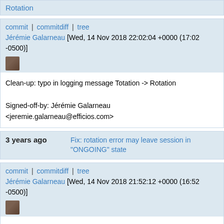Rotation
commit | commitdiff | tree
Jérémie Galarneau [Wed, 14 Nov 2018 22:02:04 +0000 (17:02 -0500)]
Clean-up: typo in logging message Totation -> Rotation

Signed-off-by: Jérémie Galarneau <jeremie.galarneau@efficios.com>
3 years ago	Fix: rotation error may leave session in "ONGOING" state
commit | commitdiff | tree
Jérémie Galarneau [Wed, 14 Nov 2018 21:52:12 +0000 (16:52 -0500)]
Fix: rotation error may leave session in "ONGOING" state

The errors that can occur during the launch of a rotation may leave a session's rotation state in the "ONGOING" state.

This means that clients polling for the rotation's state (or using the notification channel) will never see the rotation enter the ERROR